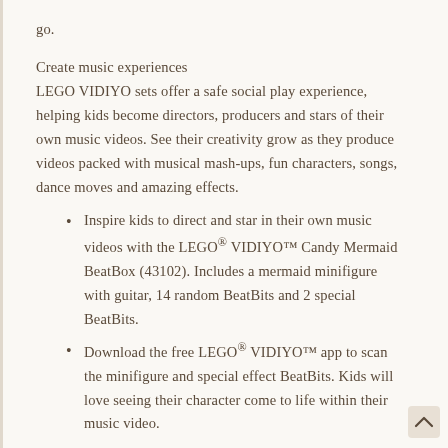go.
Create music experiences
LEGO VIDIYO sets offer a safe social play experience, helping kids become directors, producers and stars of their own music videos. See their creativity grow as they produce videos packed with musical mash-ups, fun characters, songs, dance moves and amazing effects.
Inspire kids to direct and star in their own music videos with the LEGO® VIDIYO™ Candy Mermaid BeatBox (43102). Includes a mermaid minifigure with guitar, 14 random BeatBits and 2 special BeatBits.
Download the free LEGO® VIDIYO™ app to scan the minifigure and special effect BeatBits. Kids will love seeing their character come to life within their music video.
Scan the BeatBits in the app to unlock